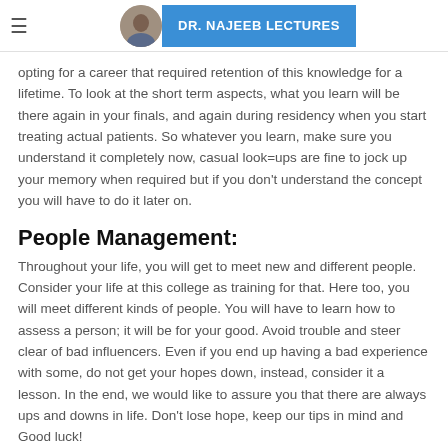DR. NAJEEB LECTURES
opting for a career that required retention of this knowledge for a lifetime. To look at the short term aspects, what you learn will be there again in your finals, and again during residency when you start treating actual patients. So whatever you learn, make sure you understand it completely now, casual look=ups are fine to jock up your memory when required but if you don't understand the concept you will have to do it later on.
People Management:
Throughout your life, you will get to meet new and different people. Consider your life at this college as training for that. Here too, you will meet different kinds of people. You will have to learn how to assess a person; it will be for your good. Avoid trouble and steer clear of bad influencers. Even if you end up having a bad experience with some, do not get your hopes down, instead, consider it a lesson. In the end, we would like to assure you that there are always ups and downs in life. Don't lose hope, keep our tips in mind and Good luck!